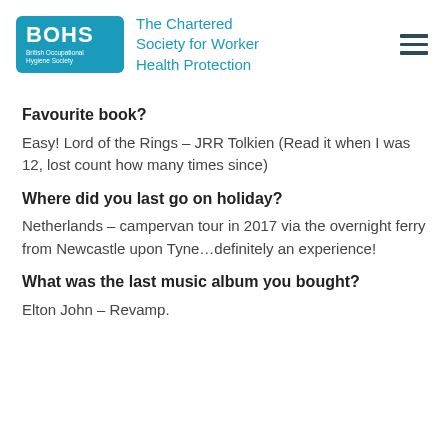BOHS — British Occupational Hygiene Society — The Chartered Society for Worker Health Protection
Favourite book?
Easy! Lord of the Rings – JRR Tolkien (Read it when I was 12, lost count how many times since)
Where did you last go on holiday?
Netherlands – campervan tour in 2017 via the overnight ferry from Newcastle upon Tyne…definitely an experience!
What was the last music album you bought?
Elton John – Revamp.